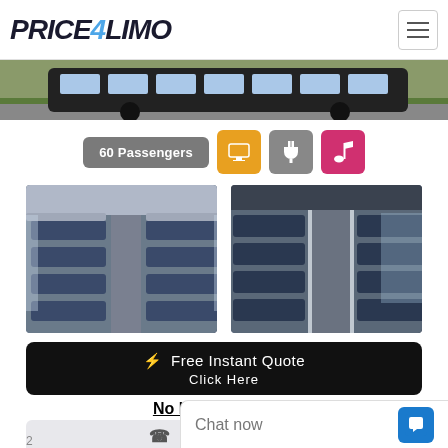[Figure (logo): Price4Limo logo — bold black italic text with blue '4']
[Figure (photo): Top portion of a charter bus exterior, partially cropped, with grass background]
60 Passengers
[Figure (infographic): Amenity icons: TV/monitor (orange), plug/electric (gray), music note (pink/magenta)]
[Figure (photo): Interior of charter bus showing rows of blue patterned seats, left view]
[Figure (photo): Interior of charter bus showing rows of blue patterned seats, right view]
⚡ Free Instant Quote
Click Here
No Email Required
866-265-5479
Chat now